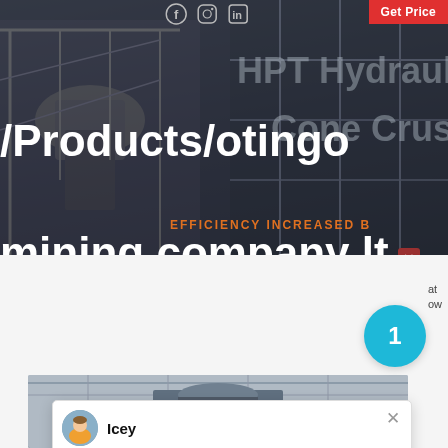[Figure (screenshot): Website screenshot of Liming Heavy Industry product page showing HPT Hydraulic Cone Crusher with industrial mining equipment background image, overlaid navigation path text, efficiency banner, a live chat popup from agent 'Icey', and a product machinery photo at the bottom.]
Get Price
HPT Hydraulic Cone Crusher
EFFICIENCY INCREASED B
/Products/otingo mining company ltd
Icey
Welcome to Liming Heavy Industry! Now our online service is chatting with you! Please choose the l
1